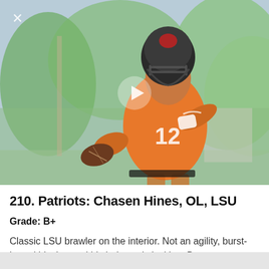[Figure (photo): Football player wearing orange jersey number 12 and dark helmet, holding a football in a throwing stance during practice. Background shows green trees and outdoor practice facility. Video play button overlay visible in center of image.]
210. Patriots: Chasen Hines, OL, LSU
Grade: B+
Classic LSU brawler on the interior. Not an agility, burst-based blocker and his balance is lacking. But